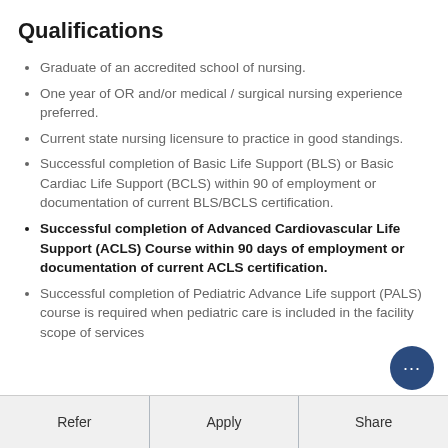Qualifications
Graduate of an accredited school of nursing.
One year of OR and/or medical / surgical nursing experience preferred.
Current state nursing licensure to practice in good standings.
Successful completion of Basic Life Support (BLS) or Basic Cardiac Life Support (BCLS) within 90 of employment or documentation of current BLS/BCLS certification.
Successful completion of Advanced Cardiovascular Life Support (ACLS) Course within 90 days of employment or documentation of current ACLS certification.
Successful completion of Pediatric Advance Life support (PALS) course is required when pediatric care is included in the facility scope of services
Refer | Apply | Share